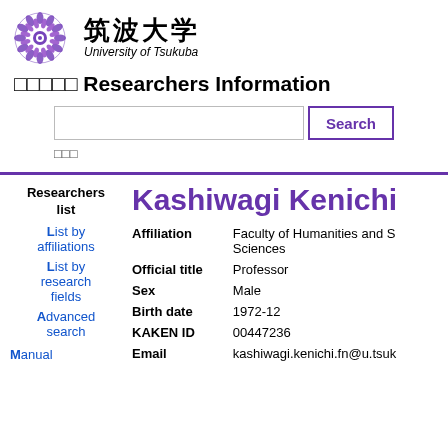[Figure (logo): University of Tsukuba logo with purple chrysanthemum crest and Japanese/English text]
□□□□□ Researchers Information
Search bar with Search button
□□□
Researchers list
List by affiliations
List by research fields
Advanced search
Manual
Kashiwagi Kenichi
| Field | Value |
| --- | --- |
| Affiliation | Faculty of Humanities and S Sciences |
| Official title | Professor |
| Sex | Male |
| Birth date | 1972-12 |
| KAKEN ID | 00447236 |
| Email | kashiwagi.kenichi.fn@u.tsuk |